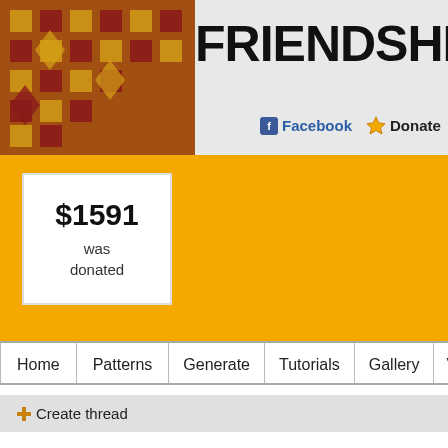FRIENDSHIP-BRACE
Facebook   Donate   Search...
$1591 was donated
Home  Patterns  Generate  Tutorials  Gallery  Videos
+ Create thread
Forum > Tips and tricks
Share your practical ideas.
| thread name |
| --- |
| Tips and Tricks |